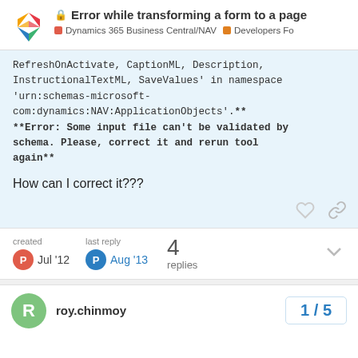Error while transforming a form to a page — Dynamics 365 Business Central/NAV | Developers Fo
RefreshOnActivate, CaptionML, Description, InstructionalTextML, SaveValues' in namespace 'urn:schemas-microsoft-com:dynamics:NAV:ApplicationObjects'.**
**Error: Some input file can't be validated by schema. Please, correct it and rerun tool again**
How can I correct it???
created Jul '12   last reply Aug '13   4 replies
roy.chinmoy
1 / 5